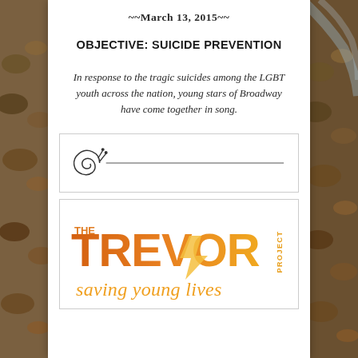~~March 13, 2015~~
OBJECTIVE: SUICIDE PREVENTION
In response to the tragic suicides among the LGBT youth across the nation, young stars of Broadway have come together in song.
[Figure (illustration): A decorative snail/scroll illustration with a horizontal line extending to the right]
[Figure (logo): The Trevor Project logo with text 'THE TREVOR PROJECT' in orange gradient and tagline 'saving young lives' in orange italic script]